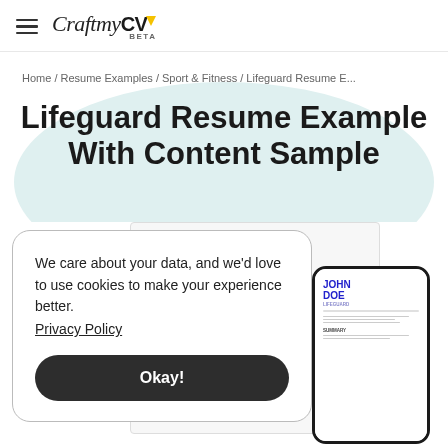CraftMyCV BETA
Home / Resume Examples / Sport & Fitness / Lifeguard Resume E...
Lifeguard Resume Example With Content Sample
We care about your data, and we'd love to use cookies to make your experience better. Privacy Policy
Okay!
[Figure (screenshot): Phone mockup showing a resume for JOHN DOE with lifeguard content]